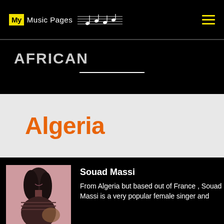My Music Pages
AFRICAN
Algeria
Souad Massi
From Algeria but based out of France , Souad Massi is a very popular female singer and